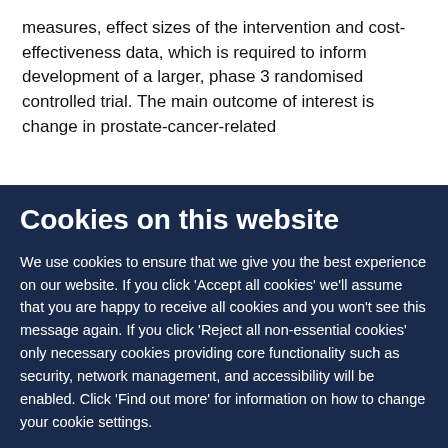measures, effect sizes of the intervention and cost-effectiveness data, which is required to inform development of a larger, phase 3 randomised controlled trial. The main outcome of interest is change in prostate-cancer-related
Cookies on this website
We use cookies to ensure that we give you the best experience on our website. If you click 'Accept all cookies' we'll assume that you are happy to receive all cookies and you won't see this message again. If you click 'Reject all non-essential cookies' only necessary cookies providing core functionality such as security, network management, and accessibility will be enabled. Click 'Find out more' for information on how to change your cookie settings.
Accept all cookies | Reject all non-essential cookies | Find out more